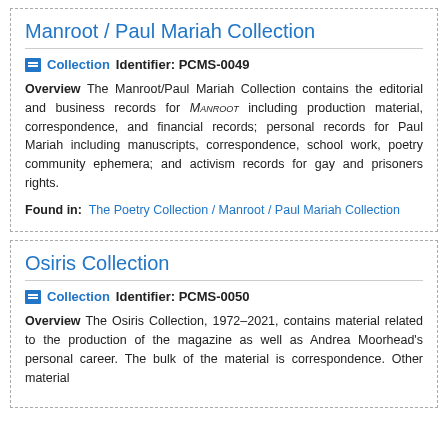Manroot / Paul Mariah Collection
Collection   Identifier: PCMS-0049
Overview The Manroot/Paul Mariah Collection contains the editorial and business records for MANROOT including production material, correspondence, and financial records; personal records for Paul Mariah including manuscripts, correspondence, school work, poetry community ephemera; and activism records for gay and prisoners rights.
Found in:  The Poetry Collection / Manroot / Paul Mariah Collection
Osiris Collection
Collection   Identifier: PCMS-0050
Overview The Osiris Collection, 1972–2021, contains material related to the production of the magazine as well as Andrea Moorhead's personal career. The bulk of the material is correspondence. Other material